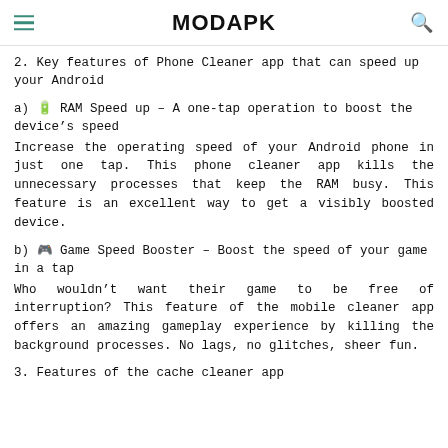MODAPK
2. Key features of Phone Cleaner app that can speed up your Android
a) 🔋 RAM Speed up – A one-tap operation to boost the device's speed
Increase the operating speed of your Android phone in just one tap. This phone cleaner app kills the unnecessary processes that keep the RAM busy. This feature is an excellent way to get a visibly boosted device.
b) 🎮 Game Speed Booster – Boost the speed of your game in a tap
Who wouldn't want their game to be free of interruption? This feature of the mobile cleaner app offers an amazing gameplay experience by killing the background processes. No lags, no glitches, sheer fun.
3. Features of the cache cleaner app